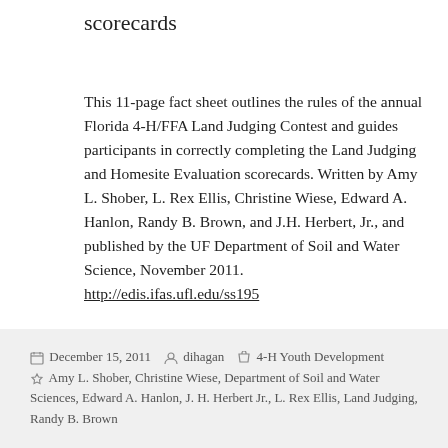scorecards
This 11-page fact sheet outlines the rules of the annual Florida 4-H/FFA Land Judging Contest and guides participants in correctly completing the Land Judging and Homesite Evaluation scorecards. Written by Amy L. Shober, L. Rex Ellis, Christine Wiese, Edward A. Hanlon, Randy B. Brown, and J.H. Herbert, Jr., and published by the UF Department of Soil and Water Science, November 2011. http://edis.ifas.ufl.edu/ss195
December 15, 2011  dihagan  4-H Youth Development  Amy L. Shober, Christine Wiese, Department of Soil and Water Sciences, Edward A. Hanlon, J. H. Herbert Jr., L. Rex Ellis, Land Judging, Randy B. Brown